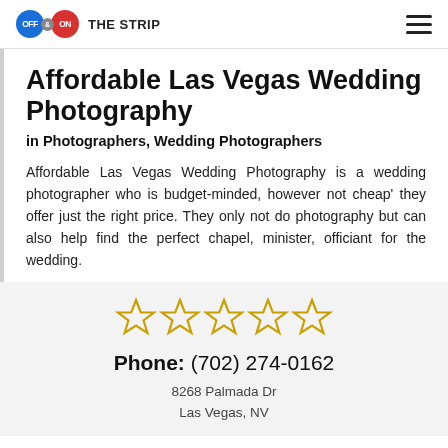OFF & ON THE STRIP
Affordable Las Vegas Wedding Photography
in Photographers, Wedding Photographers
Affordable Las Vegas Wedding Photography is a wedding photographer who is budget-minded, however not cheap' they offer just the right price. They only not do photography but can also help find the perfect chapel, minister, officiant for the wedding.
[Figure (other): Five empty gold star rating icons]
Phone: (702) 274-0162
8268 Palmada Dr
Las Vegas, NV